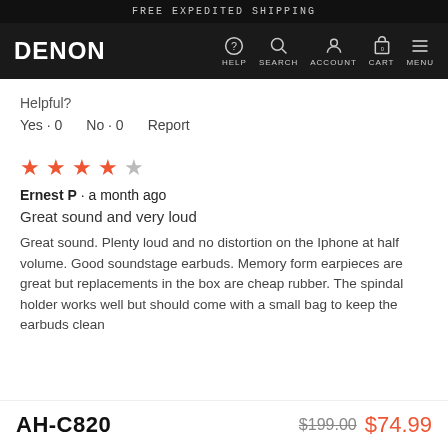FREE EXPEDITED SHIPPING
[Figure (logo): Denon logo and navigation bar with HELP, SEARCH, ACCOUNT, CART, MENU icons]
Helpful?
Yes · 0   No · 0   Report
[Figure (other): 4 out of 5 stars rating]
Ernest P · a month ago
Great sound and very loud
Great sound. Plenty loud and no distortion on the Iphone at half volume. Good soundstage earbuds. Memory form earpieces are great but replacements in the box are cheap rubber. The spindal holder works well but should come with a small bag to keep the earbuds clean
AH-C820   $199.00  $74.99